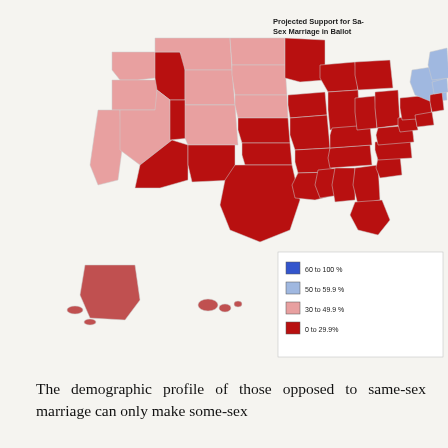[Figure (map): Choropleth map of the United States showing projected support for same-sex marriage in a ballot initiative, with states colored by percentage ranges: blue (60% to 100%), light blue (50% to 59.9%), light red/pink (30% to 49.9%), and dark red (0% to 29.9%). Most states are dark red, with a few pink states in the West and Mountain regions, and some light blue/blue states in the Northeast.]
The demographic profile of those opposed to same-sex marriage can only make some-sex